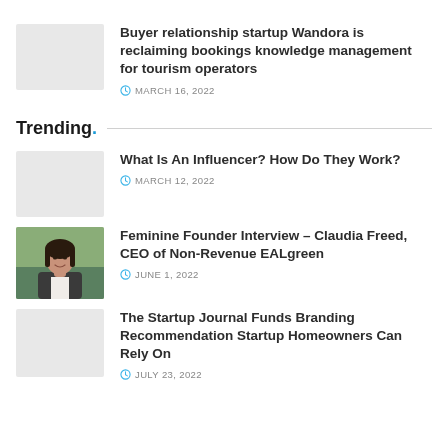[Figure (photo): Light gray placeholder thumbnail image for article]
Buyer relationship startup Wandora is reclaiming bookings knowledge management for tourism operators
MARCH 16, 2022
Trending.
[Figure (photo): Light gray placeholder thumbnail image for article]
What Is An Influencer? How Do They Work?
MARCH 12, 2022
[Figure (photo): Photo of a woman with dark hair, smiling, wearing a dark jacket, outdoors with greenery in the background - Claudia Freed]
Feminine Founder Interview – Claudia Freed, CEO of Non-Revenue EALgreen
JUNE 1, 2022
[Figure (photo): Light gray placeholder thumbnail image for article]
The Startup Journal Funds Branding Recommendation Startup Homeowners Can Rely On
JULY 23, 2022